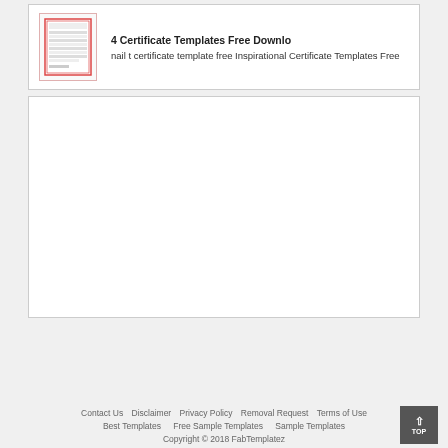[Figure (screenshot): Thumbnail image of a certificate template with red border and table-like rows]
4 Certificate Templates Free Downlo
nail t certificate template free Inspirational Certificate Templates Free
[Figure (other): Large blank white box placeholder]
Contact Us  Disclaimer  Privacy Policy  Removal Request  Terms of Use  Best Templates  Free Sample Templates  Sample Templates  Copyright © 2018 FabTemplatez